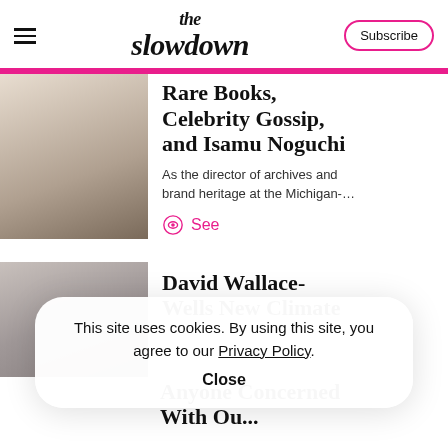the slowdown
Rare Books, Celebrity Gossip, and Isamu Noguchi
As the director of archives and brand heritage at the Michigan-…
See
[Figure (photo): Blurred thumbnail image, beige/brown tones]
David Wallace-Wells New Climate
[Figure (photo): Blurred thumbnail image, gray tones]
This site uses cookies. By using this site, you agree to our Privacy Policy. Close
Anyone Concerned With Ou...